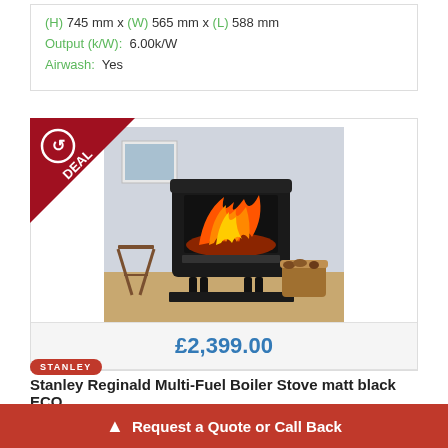(H) 745 mm x (W) 565 mm x (L) 588 mm
Output (k/W):  6.00k/W
Airwash:  Yes
[Figure (photo): Black Stanley Reginald Multi-Fuel Boiler Stove with flames visible through glass door, shown in a living room setting with firewood basket, against a light grey wall]
£2,399.00
[Figure (logo): Stanley brand badge in red oval]
Stanley Reginald Multi-Fuel Boiler Stove matt black ECO
(H) 818 mm x
Output (k/W):
Request a Quote or Call Back